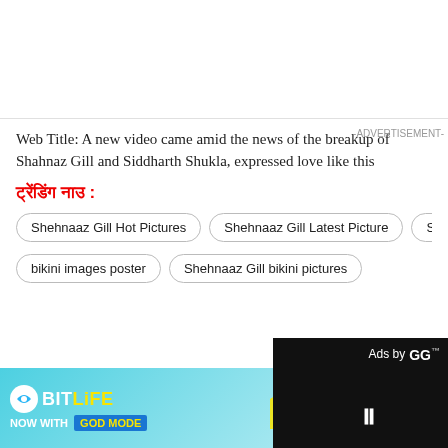[Figure (other): White blank banner/image area at top of page]
Web Title: A new video came amid the news of the breakup of Shahnaz Gill and Siddharth Shukla, expressed love like this
ट्रेंडिंग नाउ :
Shehnaaz Gill Hot Pictures
Shehnaaz Gill Latest Picture
Shehnaaz Gill
bikini images poster
Shehnaaz Gill bikini pictures
-ADVERTISEMENT-
Ads by GG
[Figure (photo): BitLife advertisement banner - NOW WITH GOD MODE]
[Figure (other): Black video ad box with pause button]